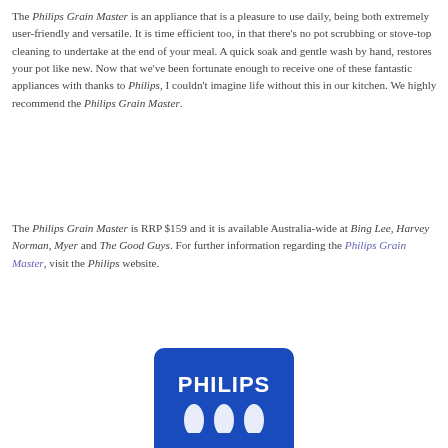The Philips Grain Master is an appliance that is a pleasure to use daily, being both extremely user-friendly and versatile. It is time efficient too, in that there's no pot scrubbing or stove-top cleaning to undertake at the end of your meal. A quick soak and gentle wash by hand, restores your pot like new. Now that we've been fortunate enough to receive one of these fantastic appliances with thanks to Philips, I couldn't imagine life without this in our kitchen. We highly recommend the Philips Grain Master.
The Philips Grain Master is RRP $159 and it is available Australia-wide at Bing Lee, Harvey Norman, Myer and The Good Guys. For further information regarding the Philips Grain Master, visit the Philips website.
[Figure (logo): Philips blue shield logo with white PHILIPS text and wave emblem]